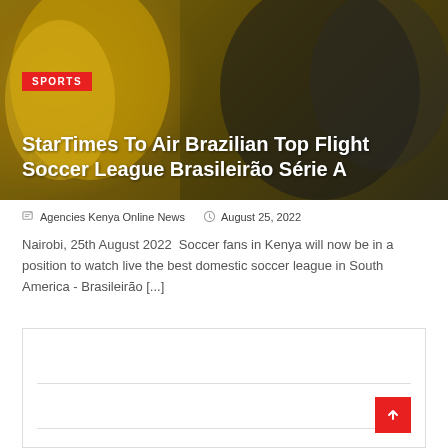[Figure (photo): Hero image of soccer fans/players in yellow and dark jerseys with green-golden overlay tones]
StarTimes To Air Brazilian Top Flight Soccer League Brasileirão Série A
✏ Agencies Kenya Online News   🕐 August 25, 2022
Nairobi, 25th August 2022  Soccer fans in Kenya will now be in a position to watch live the best domestic soccer league in South America - Brasileirão [...]